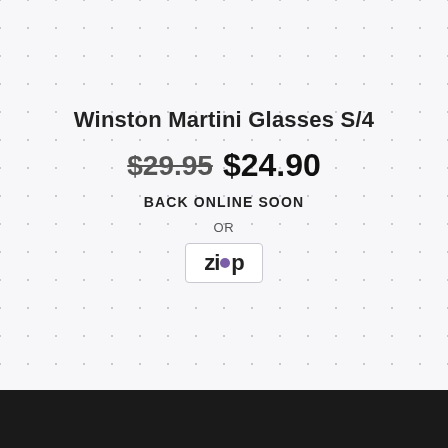Winston Martini Glasses S/4
$29.95  $24.90
BACK ONLINE SOON
OR
[Figure (logo): Zip payment logo — stylized text 'Zip' with a purple circle dot above the 'i', inside a rounded rectangle border]